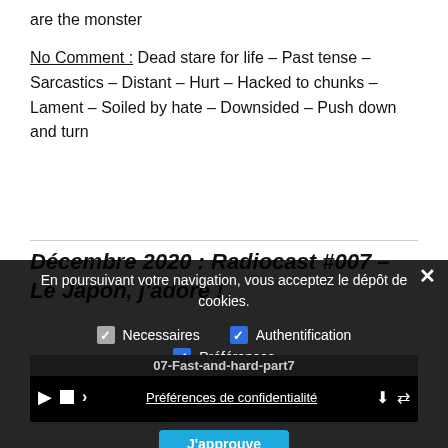are the monster
No Comment : Dead stare for life – Past tense – Sarcastics – Distant – Hurt – Hacked to chunks – Lament – Soiled by hate – Downsided – Push down and turn
Décembre 2020 : Radiocast #007 – Le Japon, j'adore !
En poursuivant votre navigation, vous acceptez le dépôt de cookies.
Necessaires   Authentification   Préférences
07-Fast-and-hard-part7
Préférences de confidentialité
J'approuve
Cette septième émission est une spéciale Japon, car le